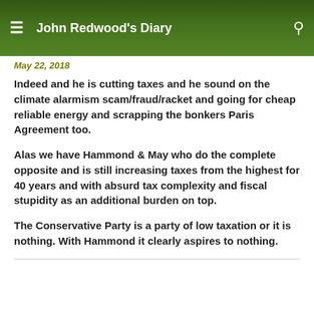John Redwood's Diary
May 22, 2018
Indeed and he is cutting taxes and he sound on the climate alarmism scam/fraud/racket and going for cheap reliable energy and scrapping the bonkers Paris Agreement too.
Alas we have Hammond & May who do the complete opposite and is still increasing taxes from the highest for 40 years and with absurd tax complexity and fiscal stupidity as an additional burden on top.
The Conservative Party is a party of low taxation or it is nothing. With Hammond it clearly aspires to nothing.